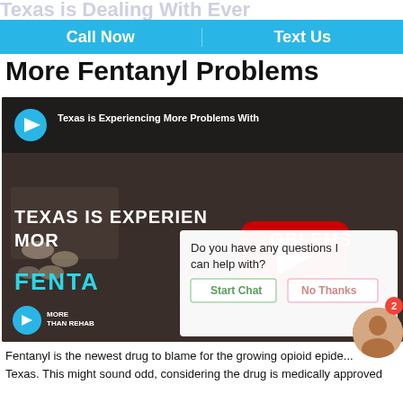Texas is Dealing With Ever
Call Now | Text Us
More Fentanyl Problems
[Figure (screenshot): YouTube video thumbnail showing 'Texas is Experiencing More Problems With Fentanyl' with a play button overlay, drug-related imagery, and 'More Than Rehab' branding. A chat popup overlays the lower right asking 'Do you have any questions I can help with?' with Start Chat and No Thanks buttons.]
Fentanyl is the newest drug to blame for the growing opioid epide... Texas. This might sound odd, considering the drug is medically approved